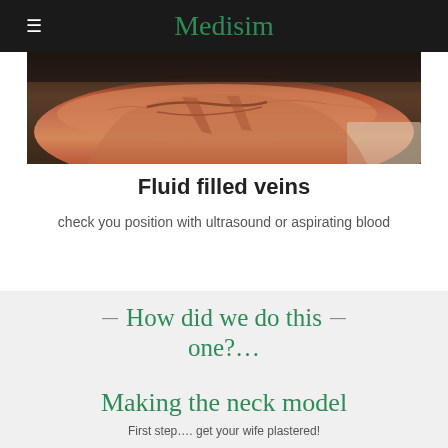Medisim
[Figure (photo): Close-up photo of an orange/salmon-colored medical neck model showing tissue-like material with cuts/incisions, used for vein access simulation training.]
Fluid filled veins
check you position with ultrasound or aspirating blood
How did we do this one?…
Making the neck model
First step…. get your wife plastered!